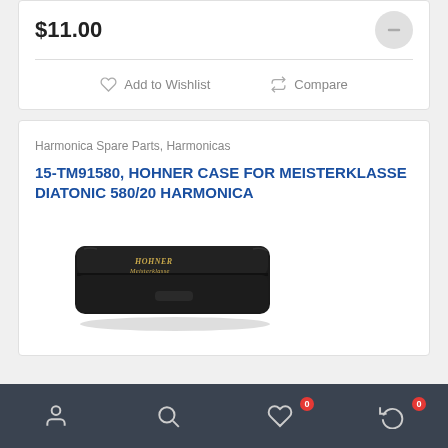$11.00
Add to Wishlist
Compare
Harmonica Spare Parts, Harmonicas
15-TM91580, HOHNER CASE FOR MEISTERKLASSE DIATONIC 580/20 HARMONICA
[Figure (photo): A black rectangular Hohner Meisterklasse harmonica case with gold text logo on top.]
Navigation bar with user, search, wishlist (0), and cart (0) icons